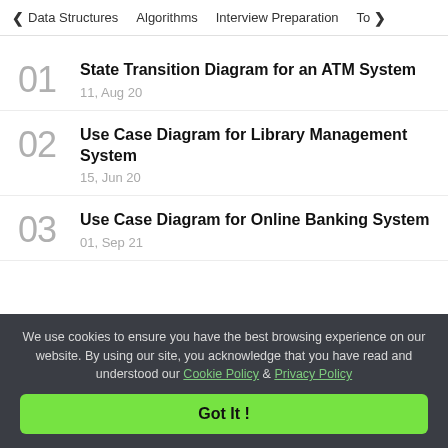Data Structures   Algorithms   Interview Preparation   To>
01
State Transition Diagram for an ATM System
11, Aug 20
02
Use Case Diagram for Library Management System
15, Jun 20
03
Use Case Diagram for Online Banking System
01, Sep 21
We use cookies to ensure you have the best browsing experience on our website. By using our site, you acknowledge that you have read and understood our Cookie Policy & Privacy Policy
Got It !